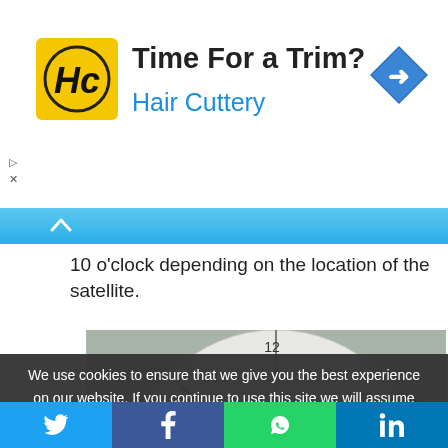[Figure (advertisement): Hair Cuttery ad banner with yellow logo, 'Time For a Trim?' headline and blue 'Hair Cuttery' subtext, navigation arrow icon top right]
10 o'clock depending on the location of the satellite.
[Figure (photo): Photo of a satellite LNB component mounted in front of a circular clock-face diagram showing clock positions (9, 10, 11, 12, 1, 2, 3) with lines indicating angles]
We use cookies to ensure that we give you the best experience on our website. If you continue to use this site we will assume that you are happy with it.
Twitter | Facebook | WhatsApp | LinkedIn social share bar